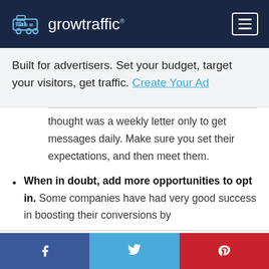growtraffic
Built for advertisers. Set your budget, target your visitors, get traffic. Create Your Ad
thought was a weekly letter only to get messages daily. Make sure you set their expectations, and then meet them.
When in doubt, add more opportunities to opt in. Some companies have had very good success in boosting their conversions by